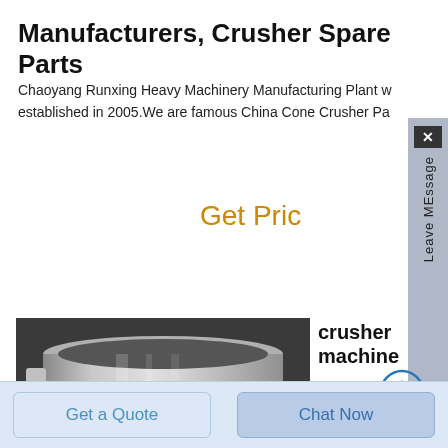Manufacturers, Crusher Spare Parts
Chaoyang Runxing Heavy Machinery Manufacturing Plant was established in 2005.We are famous China Cone Crusher Pa...
Get Price
[Figure (photo): Photo of a cylindrical metal crusher spare part (copper bushing/sleeve), polished silver surface with rectangular cutout, shown on dark background.]
crusher machine spare copper casting in malaysia
casting process crusher machin...
Get a Quote
Chat Now